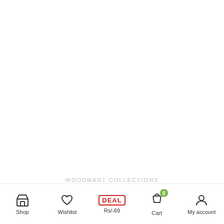[Figure (screenshot): Large white empty area — main content area of a mobile e-commerce app (WoodMart Collections)]
WOODMART COLLECTIONS
Shop | Wishlist | Rs/-69 | Cart (0) | My account